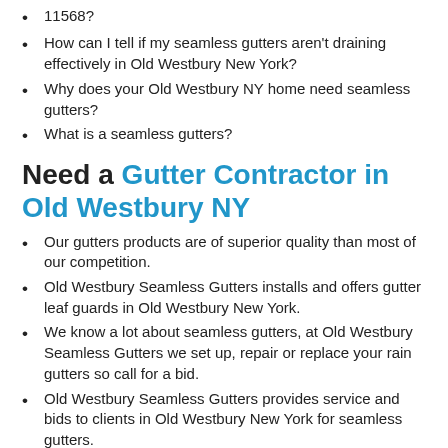11568?
How can I tell if my seamless gutters aren't draining effectively in Old Westbury New York?
Why does your Old Westbury NY home need seamless gutters?
What is a seamless gutters?
Need a Gutter Contractor in Old Westbury NY
Our gutters products are of superior quality than most of our competition.
Old Westbury Seamless Gutters installs and offers gutter leaf guards in Old Westbury New York.
We know a lot about seamless gutters, at Old Westbury Seamless Gutters we set up, repair or replace your rain gutters so call for a bid.
Old Westbury Seamless Gutters provides service and bids to clients in Old Westbury New York for seamless gutters.
Contact the pros at Old Westbury Seamless Gutters we can really help you in Old Westbury.
Do you need new gutters in the following zip codes: 11568.
For more information on Gutters Click Below